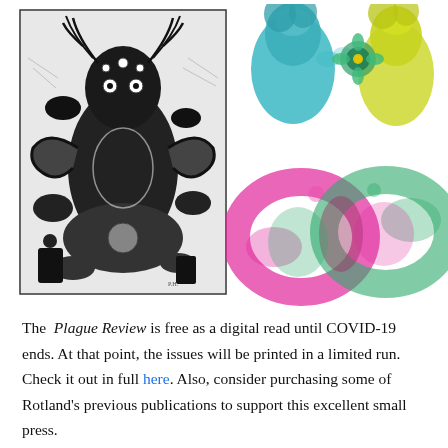[Figure (illustration): Black and white detailed illustration of a surreal, densely-drawn creature or figure with antlers and organic forms filling a room-like space]
[Figure (illustration): Watercolor illustration of two busts facing each other — a teal/blue figure on the left and a yellow-green figure on the right — with a colorful flower between them]
[Figure (illustration): Watercolor illustration of an infinity symbol shape formed by intertwining pink/magenta and green silhouettes of figures]
The Plague Review is free as a digital read until COVID-19 ends. At that point, the issues will be printed in a limited run. Check it out in full here. Also, consider purchasing some of Rotland's previous publications to support this excellent small press.